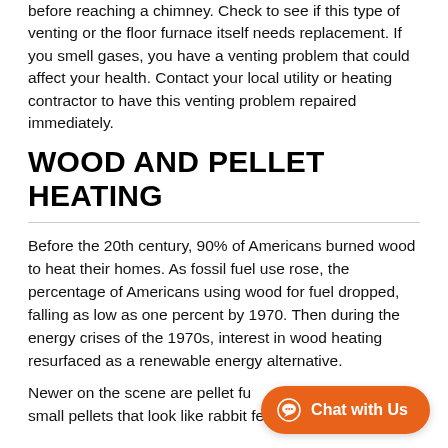before reaching a chimney. Check to see if this type of venting or the floor furnace itself needs replacement. If you smell gases, you have a venting problem that could affect your health. Contact your local utility or heating contractor to have this venting problem repaired immediately.
WOOD AND PELLET HEATING
Before the 20th century, 90% of Americans burned wood to heat their homes. As fossil fuel use rose, the percentage of Americans using wood for fuel dropped, falling as low as one percent by 1970. Then during the energy crises of the 1970s, interest in wood heating resurfaced as a renewable energy alternative.
Newer on the scene are pellet fu... which burn small pellets that look like rabbit feed